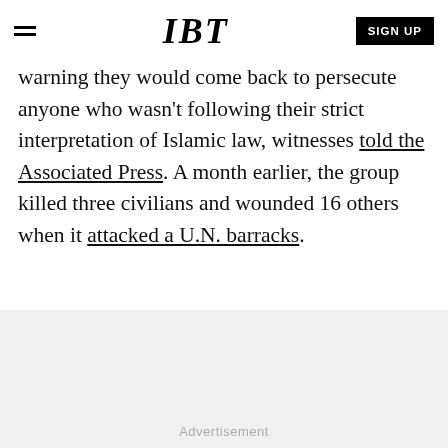IBT  SIGN UP
warning they would come back to persecute anyone who wasn't following their strict interpretation of Islamic law, witnesses told the Associated Press. A month earlier, the group killed three civilians and wounded 16 others when it attacked a U.N. barracks.
Advertisement